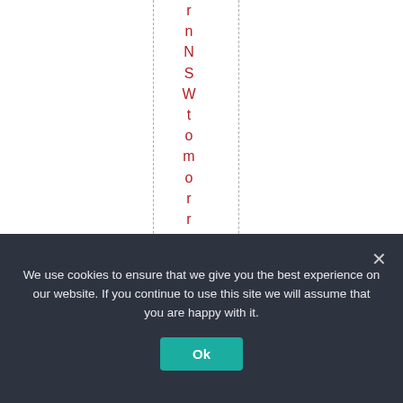n N S W t o m o r r o w n i g h t
We use cookies to ensure that we give you the best experience on our website. If you continue to use this site we will assume that you are happy with it.